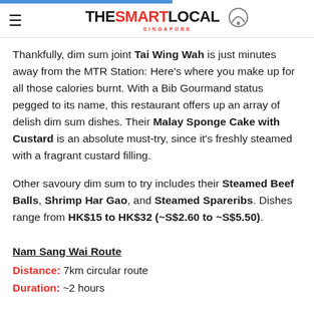THE SMART LOCAL SINGAPORE
Thankfully, dim sum joint Tai Wing Wah is just minutes away from the MTR Station: Here's where you make up for all those calories burnt. With a Bib Gourmand status pegged to its name, this restaurant offers up an array of delish dim sum dishes. Their Malay Sponge Cake with Custard is an absolute must-try, since it's freshly steamed with a fragrant custard filling.
Other savoury dim sum to try includes their Steamed Beef Balls, Shrimp Har Gao, and Steamed Spareribs. Dishes range from HK$15 to HK$32 (~S$2.60 to ~S$5.50).
Nam Sang Wai Route
Distance: 7km circular route
Duration: ~2 hours